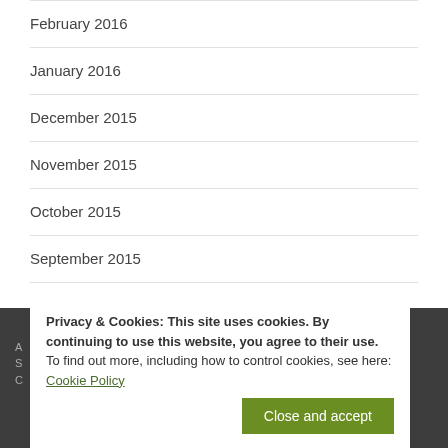February 2016
January 2016
December 2015
November 2015
October 2015
September 2015
August 2015
Privacy & Cookies: This site uses cookies. By continuing to use this website, you agree to their use.
To find out more, including how to control cookies, see here: Cookie Policy
Close and accept